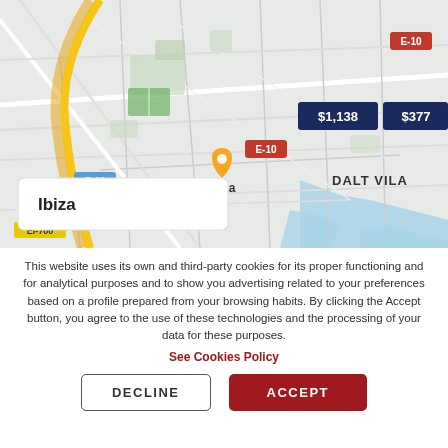[Figure (map): Street map of Ibiza showing road network, E-20, E-10, EI-700 route markers, a yellow location pin over 'Ibiza' label, a white popup box with 'Ibiza' text, price labels '$1,138' and '$377' on dark navy background in upper right, and 'DALT VILA' label in the eastern area. Blue water visible at bottom right.]
This website uses its own and third-party cookies for its proper functioning and for analytical purposes and to show you advertising related to your preferences based on a profile prepared from your browsing habits. By clicking the Accept button, you agree to the use of these technologies and the processing of your data for these purposes.
See Cookies Policy
DECLINE
ACCEPT